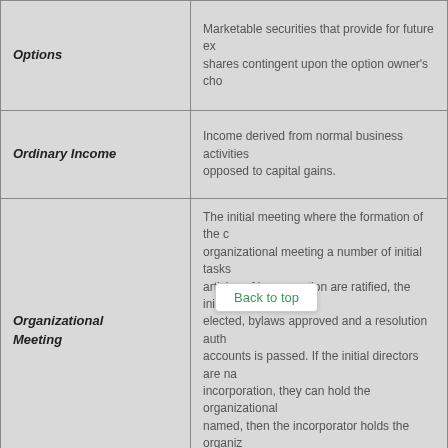| Term | Definition |
| --- | --- |
| Options | Marketable securities that provide for future ex... shares contingent upon the option owner's cho... |
| Ordinary Income | Income derived from normal business activities... opposed to capital gains. |
| Organizational Meeting | The initial meeting where the formation of the c... organizational meeting a number of initial tasks... articles of incorporation are ratified, the initial s... elected, bylaws approved and a resolution auth... accounts is passed. If the initial directors are na... incorporation, they can hold the organizational ... named, then the incorporator holds the organiz... |
| Over-the-Counter (OTC) | A security traded in... contexts other than a form... refer to a market where security transactions a... computer, rather than on the floor of an exchan... |
| Overhead | Fixed costs not directly applicable to the produ... example, costs of lighting and heating a factory... |